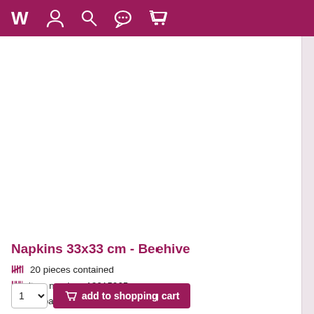W [navigation icons: person, search, chat, cart]
[Figure (photo): Product photo of napkins with beehive and bees pattern — shows a straw beehive basket surrounded by bumblebees, pink flowers, and green leaves on white background]
Napkins 33x33 cm - Beehive
20 pieces contained
item number: 13315965.
12 packings in stock.
US$ 3.36
US$ 0.17 /item
incl. taxes plus shipping costs